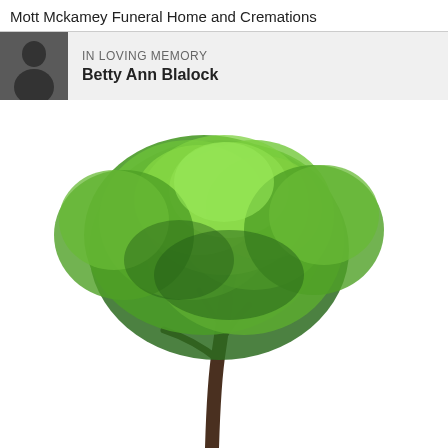Mott Mckamey Funeral Home and Cremations
IN LOVING MEMORY
Betty Ann Blalock
[Figure (photo): A large green deciduous tree with a full canopy photographed against a white background, showing trunk and branches clearly]